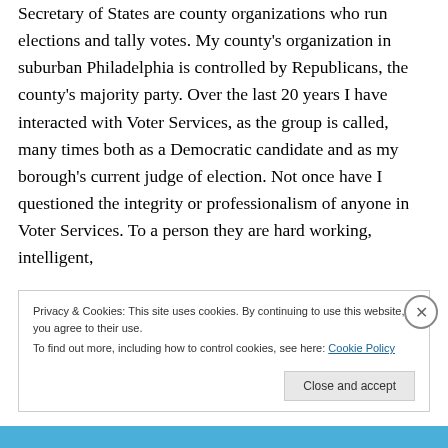Secretary of States are county organizations who run elections and tally votes. My county's organization in suburban Philadelphia is controlled by Republicans, the county's majority party. Over the last 20 years I have interacted with Voter Services, as the group is called, many times both as a Democratic candidate and as my borough's current judge of election. Not once have I questioned the integrity or professionalism of anyone in Voter Services. To a person they are hard working, intelligent,
Privacy & Cookies: This site uses cookies. By continuing to use this website, you agree to their use.
To find out more, including how to control cookies, see here: Cookie Policy
Close and accept